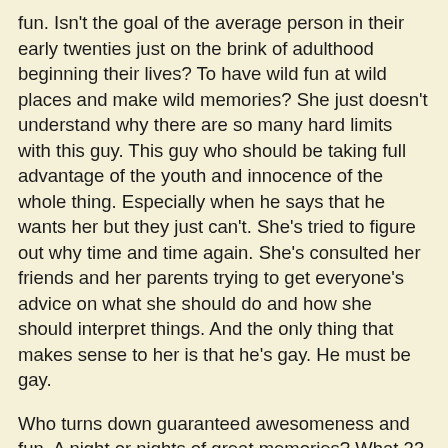fun. Isn't the goal of the average person in their early twenties just on the brink of adulthood beginning their lives? To have wild fun at wild places and make wild memories? She just doesn't understand why there are so many hard limits with this guy. This guy who should be taking full advantage of the youth and innocence of the whole thing. Especially when he says that he wants her but they just can't. She's tried to figure out why time and time again. She's consulted her friends and her parents trying to get everyone's advice on what she should do and how she should interpret things. And the only thing that makes sense to her is that he's gay. He must be gay.
Who turns down guaranteed awesomeness and fun. A night or nights of great memories? What 23 year old man turns that down? One that's not interested in girls! That's what she's telling herself to make her feel better about the situation.
He may not be gay. He probably isn't. It may just be that he's not attracted to her anymore despite him saying that he is and even sending pictures of himself trying to prove